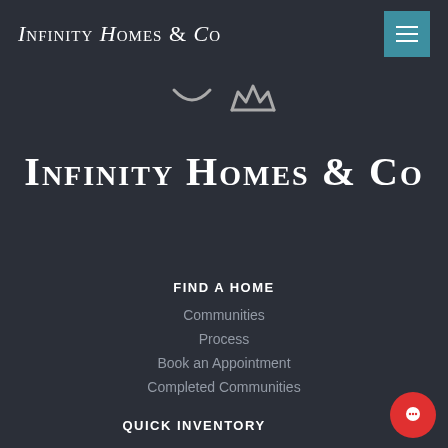Infinity Homes & Co
[Figure (logo): Small icon logos — a smiley face arc and a crown shape]
Infinity Homes & Co
FIND A HOME
Communities
Process
Book an Appointment
Completed Communities
QUICK INVENTORY